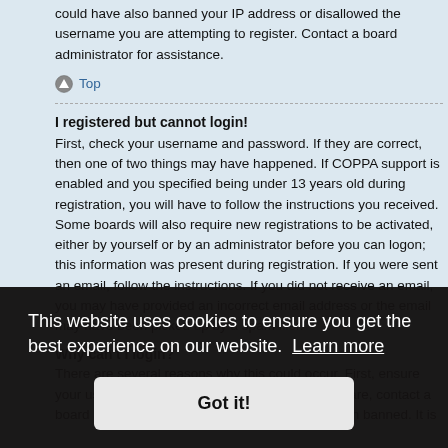could have also banned your IP address or disallowed the username you are attempting to register. Contact a board administrator for assistance.
Top
I registered but cannot login!
First, check your username and password. If they are correct, then one of two things may have happened. If COPPA support is enabled and you specified being under 13 years old during registration, you will have to follow the instructions you received. Some boards will also require new registrations to be activated, either by yourself or by an administrator before you can logon; this information was present during registration. If you were sent an email, follow the instructions. If you did not receive an email, you may have provided an incorrect email address or the email may have been picked up by a spam filer.
Why can't I login?
There are several reasons why this could occur. First, ensure your username and password are correct. If they are, contact a board administrator to make sure you haven't been banned. It is
This website uses cookies to ensure you get the best experience on our website. Learn more
Got it!